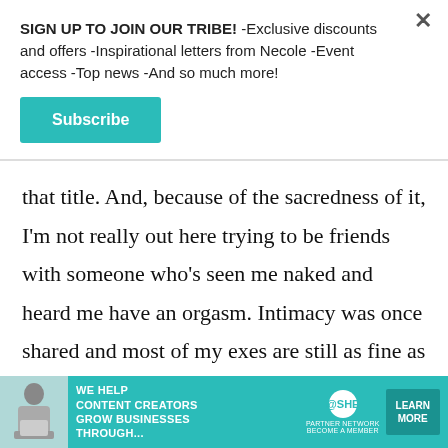SIGN UP TO JOIN OUR TRIBE! -Exclusive discounts and offers -Inspirational letters from Necole -Event access -Top news -And so much more!
Subscribe
that title. And, because of the sacredness of it, I'm not really out here trying to be friends with someone who's seen me naked and heard me have an orgasm. Intimacy was once shared and most of my exes are still as fine as when I left them; therefore, firm boundaries must be set. Still, I do strive to remain at peace and to be able to hug them if I see them in the mall (only two get the
[Figure (infographic): Teal advertisement banner: WE HELP CONTENT CREATORS GROW BUSINESSES THROUGH... with SHE PARTNER NETWORK BECOME A MEMBER logo and LEARN MORE button]